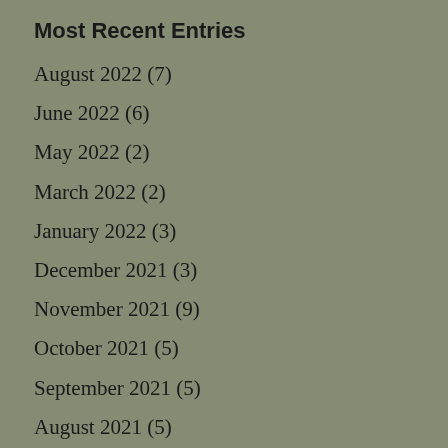Most Recent Entries
August 2022 (7)
June 2022 (6)
May 2022 (2)
March 2022 (2)
January 2022 (3)
December 2021 (3)
November 2021 (9)
October 2021 (5)
September 2021 (5)
August 2021 (5)
July 2021 (4)
June 2021 (6)
May 2021 (9)